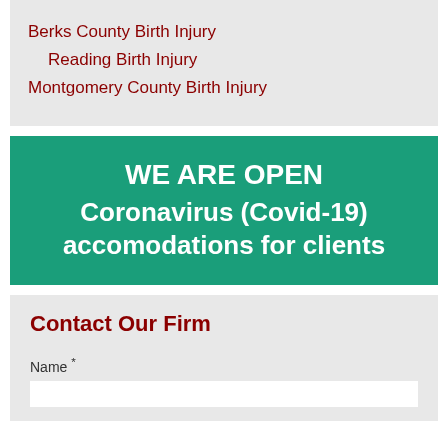Berks County Birth Injury
Reading Birth Injury
Montgomery County Birth Injury
[Figure (infographic): Green banner with white bold text reading 'WE ARE OPEN Coronavirus (Covid-19) accomodations for clients']
Contact Our Firm
Name *